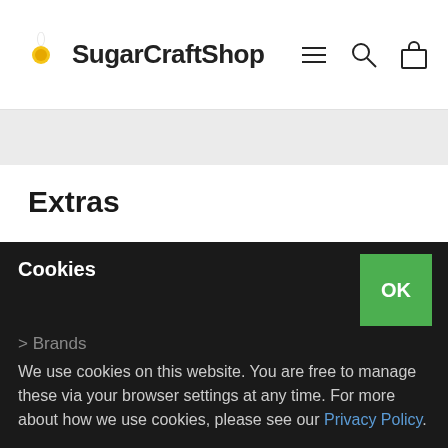SugarCraftShop
Extras
> My Account
> Order History
> Newsletter
> Gift Certificates
> Brands
Cookies
We use cookies on this website. You are free to manage these via your browser settings at any time. For more about how we use cookies, please see our Privacy Policy.